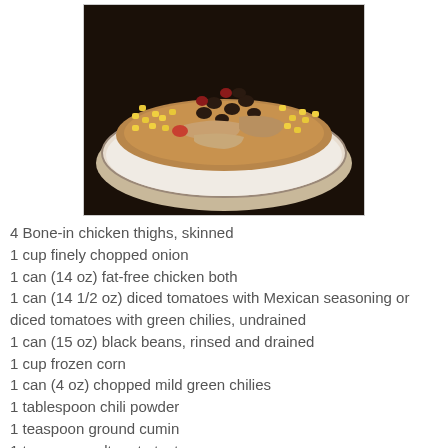[Figure (photo): A white bowl filled with chicken soup containing corn, black beans, chunks of chicken, and broth, viewed from above at a slight angle, placed on a dark background.]
4 Bone-in chicken thighs, skinned
1 cup finely chopped onion
1 can (14 oz) fat-free chicken both
1 can (14 1/2 oz) diced tomatoes with Mexican seasoning or diced tomatoes with green chilies, undrained
1 can (15 oz) black beans, rinsed and drained
1 cup frozen corn
1 can (4 oz) chopped mild green chilies
1 tablespoon chili powder
1 teaspoon ground cumin
1 teaspoon salt, or to taste
Optional toppings: sour cream, sliced avocado, shredded cheese, chopped cilantro, fried tortilla strips
1. Coat Crock-Pot slow cooker with nonstick cooking spray.